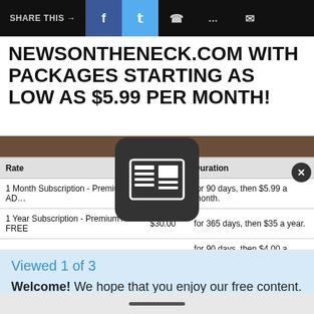SHARE THIS → f (Facebook) 🐦 (Twitter) WhatsApp Message Email
NEWSONTHENECK.COM WITH PACKAGES STARTING AS LOW AS $5.99 PER MONTH!
| Rate |  | Duration |
| --- | --- | --- |
| 1 Month Subscription - Premium AD… |  | for 90 days, then $5.99 a month. |
| 1 Year Subscription - Premium AD-FREE | $30.00 | for 365 days, then $35 a year. |
| 1 Month Subscription - Basic | $3.00 | for 90 days, then $4.00 a month. |
Viewed 1 of 3
Welcome! We hope that you enjoy our free content.